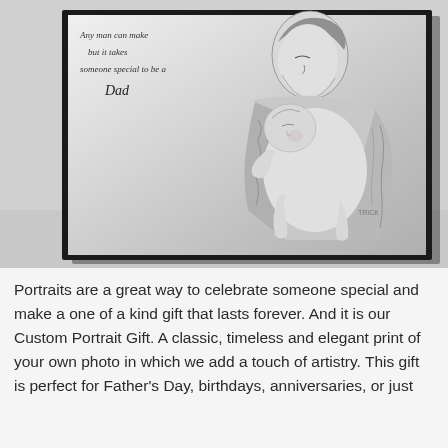[Figure (photo): A framed black and white pencil sketch artwork displayed on a surface, showing a tattooed man holding a sleeping newborn baby. The frame has a black border. Handwritten cursive text in the upper left of the artwork reads about someone special being a Dad.]
Portraits are a great way to celebrate someone special and make a one of a kind gift that lasts forever. And it is our Custom Portrait Gift. A classic, timeless and elegant print of your own photo in which we add a touch of artistry. This gift is perfect for Father's Day, birthdays, anniversaries, or just